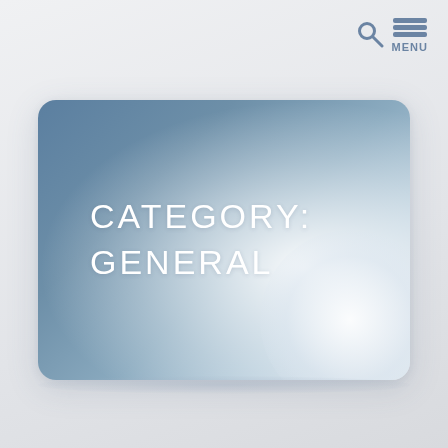[Figure (screenshot): Navigation bar with search icon and hamburger menu icon labeled MENU in blue-grey color, positioned top right]
[Figure (illustration): A rounded rectangle card with a blue-grey to white gradient and shiny reflective effect, containing the text CATEGORY: GENERAL in white uppercase letters on the left side]